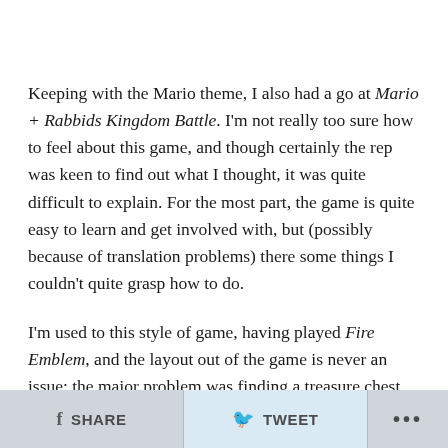Keeping with the Mario theme, I also had a go at Mario + Rabbids Kingdom Battle. I'm not really too sure how to feel about this game, and though certainly the rep was keen to find out what I thought, it was quite difficult to explain. For the most part, the game is quite easy to learn and get involved with, but (possibly because of translation problems) there some things I couldn't quite grasp how to do.
I'm used to this style of game, having played Fire Emblem, and the layout out of the game is never an issue; the major problem was finding a treasure chest, opening it, and not really knowing what I got from it.
f SHARE   TWEET   ...